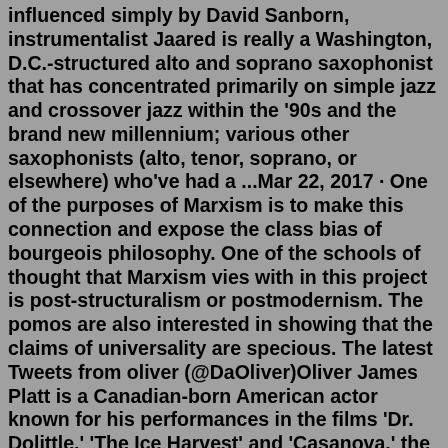influenced simply by David Sanborn, instrumentalist Jaared is really a Washington, D.C.-structured alto and soprano saxophonist that has concentrated primarily on simple jazz and crossover jazz within the '90s and the brand new millennium; various other saxophonists (alto, tenor, soprano, or elsewhere) who've had a ...Mar 22, 2017 · One of the purposes of Marxism is to make this connection and expose the class bias of bourgeois philosophy. One of the schools of thought that Marxism vies with in this project is post-structuralism or postmodernism. The pomos are also interested in showing that the claims of universality are specious. The latest Tweets from oliver (@DaOliver)Oliver James Platt is a Canadian-born American actor known for his performances in the films 'Dr. Dolittle,' 'The Ice Harvest' and 'Casanova,' the last of which garnered him a Boston Society of Film Critics Award nomination. Born to a career diplomat and a clinical social worker, Platt moved to USA when he was three months old. Nov 30, 2012... NYFCO — 12th New York Film Critics Online...